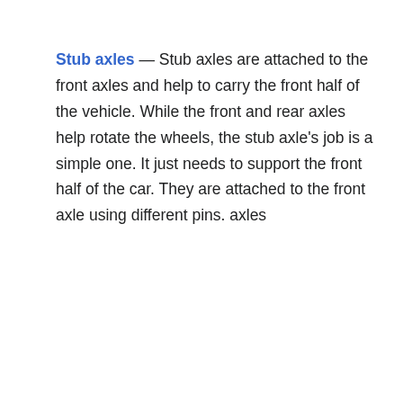Stub axles — Stub axles are attached to the front axles and help to carry the front half of the vehicle. While the front and rear axles help rotate the wheels, the stub axle's job is a simple one. It just needs to support the front half of the car. They are attached to the front axle using different pins. axles